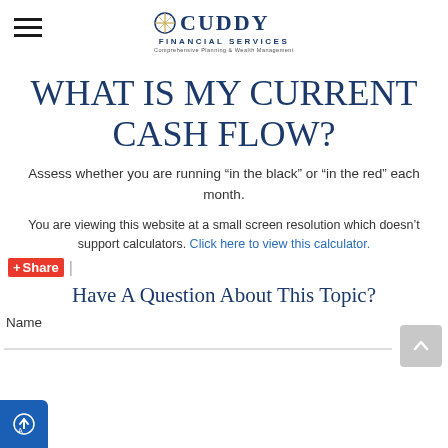Cuddy Financial Services
WHAT IS MY CURRENT CASH FLOW?
Assess whether you are running “in the black” or “in the red” each month.
You are viewing this website at a small screen resolution which doesn’t support calculators. Click here to view this calculator.
Share |
Have A Question About This Topic?
Name